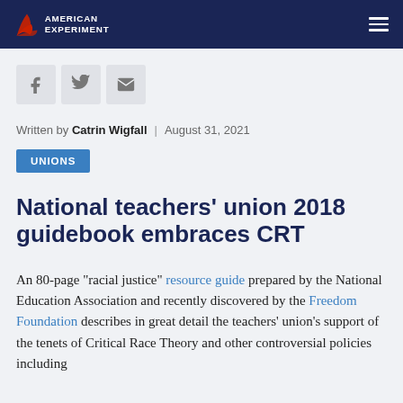American Experiment
[Figure (logo): American Experiment logo with red swoosh graphic and white text on dark navy background]
[Figure (infographic): Social share buttons: Facebook, Twitter, Email]
Written by Catrin Wigfall | August 31, 2021
UNIONS
National teachers’ union 2018 guidebook embraces CRT
An 80-page “racial justice” resource guide prepared by the National Education Association and recently discovered by the Freedom Foundation describes in great detail the teachers’ union’s support of the tenets of Critical Race Theory and other controversial policies including